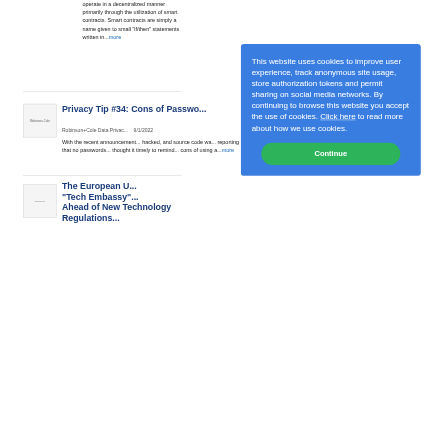operate in a decentralized manner primarily through the utilization of smart contracts. Smart contracts are simply a name given to small "if/then" statements written in...more
Privacy Tip #34: Cons of Passwo...
Robinson+Cole Data Privacy... 9/1/2022
With the recent announcement... hacked, and source code wa... reporting that no passwords... thought it timely to remind... cons of using a...more
The European U... "Tech Embassy"... Ahead of New Technology Regulations...
This website uses cookies to improve user experience, track anonymous site usage, store authorization tokens and permit sharing on social media networks. By continuing to browse this website you accept the use of cookies. Click here to read more about how we use cookies.
Continue